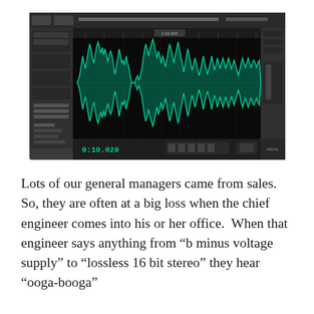[Figure (screenshot): Screenshot of an audio editing software (Adobe Audition or similar) showing a waveform display. The waveform is cyan/teal colored on a black background with a dark gray UI surrounding it. A timecode reading 0:10.020 is visible at the bottom left of the waveform area.]
Lots of our general managers came from sales. So, they are often at a big loss when the chief engineer comes into his or her office.  When that engineer says anything from “b minus voltage supply” to “lossless 16 bit stereo” they hear “ooga-booga”